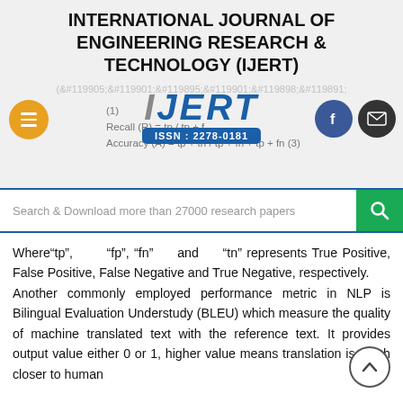INTERNATIONAL JOURNAL OF ENGINEERING RESEARCH & TECHNOLOGY (IJERT)
[Figure (logo): IJERT logo with ISSN: 2278-0181, orange hamburger menu button, Facebook and email social buttons, math/formula lines in background]
Search & Download more than 27000 research papers
Where“tp”, “fp”, “fn” and “tn” represents True Positive, False Positive, False Negative and True Negative, respectively. Another commonly employed performance metric in NLP is Bilingual Evaluation Understudy (BLEU) which measure the quality of machine translated text with the reference text. It provides output value either 0 or 1, higher value means translation is much closer to human